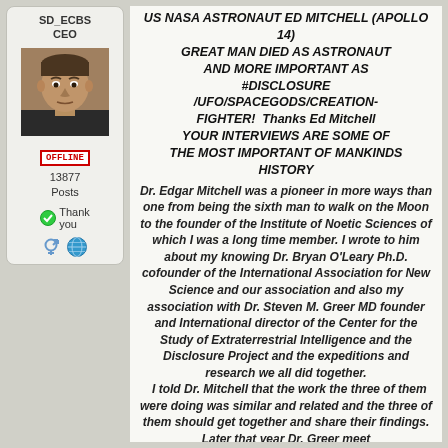SD_ECBS
CEO
[Figure (photo): Avatar photo of a man with dark hair looking at camera]
OFFLINE
13877
Posts
Thank you
US NASA ASTRONAUT ED MITCHELL (APOLLO 14) GREAT MAN DIED AS ASTRONAUT AND MORE IMPORTANT AS #DISCLOSURE /UFO/SPACEGODS/CREATION-FIGHTER!  Thanks Ed Mitchell YOUR INTERVIEWS ARE SOME OF THE MOST IMPORTANT OF MANKINDS HISTORY
Dr. Edgar Mitchell was a pioneer in more ways than one from being the sixth man to walk on the Moon to the founder of the Institute of Noetic Sciences of which I was a long time member. I wrote to him about my knowing Dr. Bryan O'Leary Ph.D. cofounder of the International Association for New Science and our association and also my association with Dr. Steven M. Greer MD founder and International director of the Center for the Study of Extraterrestrial Intelligence and the Disclosure Project and the expeditions and research we all did together.
I told Dr. Mitchell that the work the three of them were doing was similar and related and the three of them should get together and share their findings. Later that year Dr. Greer meet